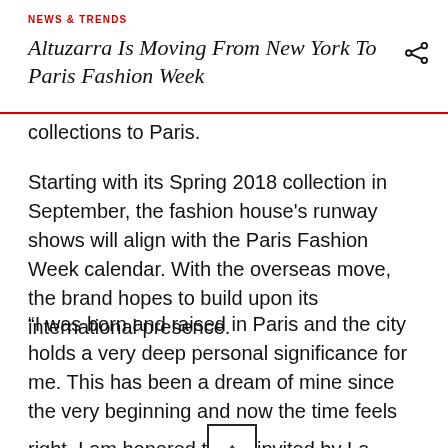NEWS & TRENDS
Altuzarra Is Moving From New York To Paris Fashion Week
collections to Paris.
Starting with its Spring 2018 collection in September, the fashion house's runway shows will align with the Paris Fashion Week calendar. With the overseas move, the brand hopes to build upon its international presence.
“I was born and raised in Paris and the city holds a very deep personal significance for me. This has been a dream of mine since the very beginning and now the time feels right. I am honored to be invited by La Fédération de la Haute Couture et de la Mode to show in my hometown of Paris,” the